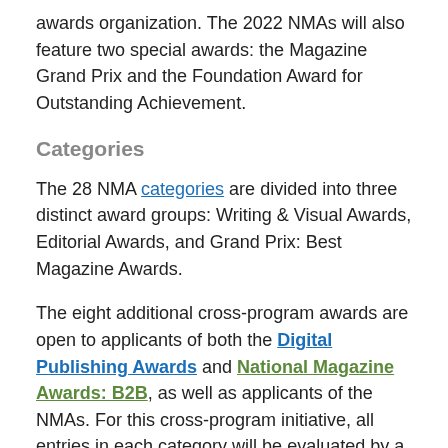awards organization. The 2022 NMAs will also feature two special awards: the Magazine Grand Prix and the Foundation Award for Outstanding Achievement.
Categories
The 28 NMA categories are divided into three distinct award groups: Writing & Visual Awards, Editorial Awards, and Grand Prix: Best Magazine Awards.
The eight additional cross-program awards are open to applicants of both the Digital Publishing Awards and National Magazine Awards: B2B, as well as applicants of the NMAs. For this cross-program initiative, all entries in each category will be evaluated by a single panel of judges, and one winner will be announced per each category below: